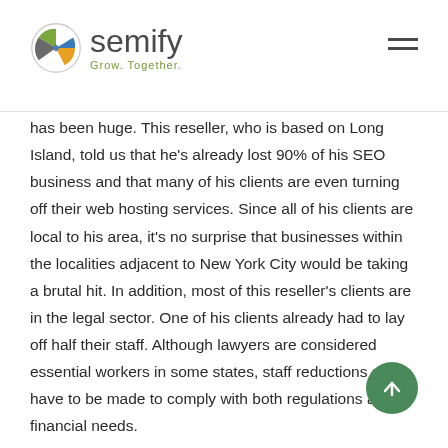semify — Grow. Together.
has been huge. This reseller, who is based on Long Island, told us that he's already lost 90% of his SEO business and that many of his clients are even turning off their web hosting services. Since all of his clients are local to his area, it's no surprise that businesses within the localities adjacent to New York City would be taking a brutal hit. In addition, most of this reseller's clients are in the legal sector. One of his clients already had to lay off half their staff. Although lawyers are considered essential workers in some states, staff reductions still have to be made to comply with both regulations and financial needs.
Of course, this news would be devastating to any reseller. It's difficult to feel positive when your own business hangs in